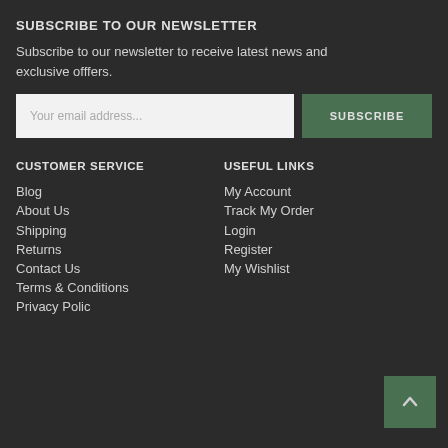SUBSCRIBE TO OUR NEWSLETTER
Subscribe to our newsletter to receive latest news and exclusive offfers.
Your email address...
SUBSCRIBE
CUSTOMER SERVICE
USEFUL LINKS
Blog
My Account
About Us
Track My Order
Shipping
Login
Returns
Register
Contact Us
My Wishlist
Terms & Conditions
Privacy Policy